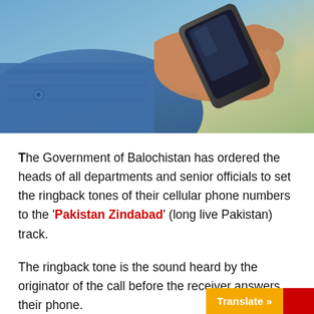[Figure (photo): Close-up photo of a person in a blue denim jacket holding a smartphone, with a blurred outdoor background]
The Government of Balochistan has ordered the heads of all departments and senior officials to set the ringback tones of their cellular phone numbers to the 'Pakistan Zindabad' (long live Pakistan) track.
The ringback tone is the sound heard by the originator of the call before the receiver answers their phone.